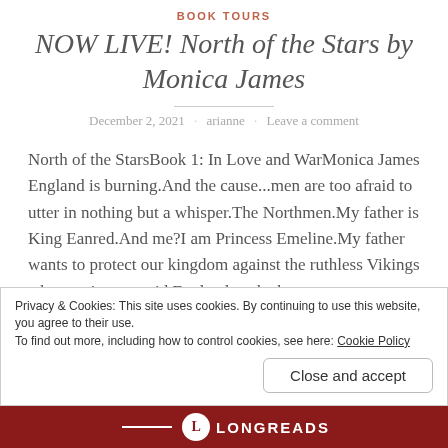BOOK TOURS
NOW LIVE! North of the Stars by Monica James
December 2, 2021 · arianne · Leave a comment
North of the StarsBook 1: In Love and WarMonica James England is burning.And the cause...men are too afraid to utter in nothing but a whisper.The Northmen.My father is King Eanred.And me?I am Princess Emeline.My father wants to protect our kingdom against the ruthless Vikings who continue to raid England, so he has
Privacy & Cookies: This site uses cookies. By continuing to use this website, you agree to their use.
To find out more, including how to control cookies, see here: Cookie Policy
Close and accept
LONGREADS